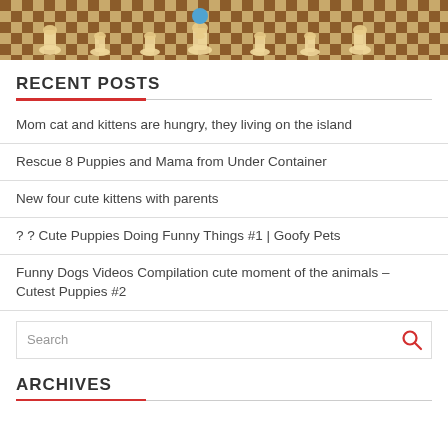[Figure (photo): Partial view of a chess board with chess pieces arranged on it, cropped at top]
RECENT POSTS
Mom cat and kittens are hungry, they living on the island
Rescue 8 Puppies and Mama from Under Container
New four cute kittens with parents
? ? Cute Puppies Doing Funny Things #1 | Goofy Pets
Funny Dogs Videos Compilation cute moment of the animals – Cutest Puppies #2
Search
ARCHIVES